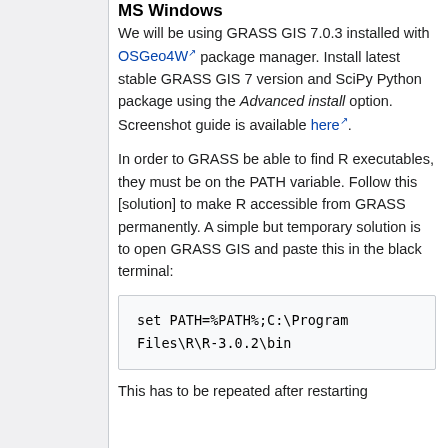MS Windows
We will be using GRASS GIS 7.0.3 installed with OSGeo4W package manager. Install latest stable GRASS GIS 7 version and SciPy Python package using the Advanced install option. Screenshot guide is available here.
In order to GRASS be able to find R executables, they must be on the PATH variable. Follow this [solution] to make R accessible from GRASS permanently. A simple but temporary solution is to open GRASS GIS and paste this in the black terminal:
set PATH=%PATH%;C:\Program Files\R\R-3.0.2\bin
This has to be repeated after restarting